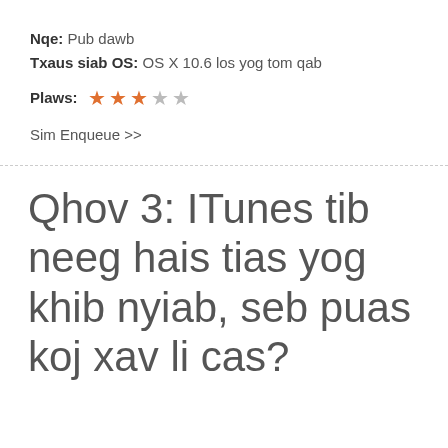Nqe: Pub dawb
Txaus siab OS: OS X 10.6 los yog tom qab
Plaws: ★★★☆☆ (3 out of 5 stars)
Sim Enqueue >>
Qhov 3: ITunes tib neeg hais tias yog khib nyiab, seb puas koj xav li cas?